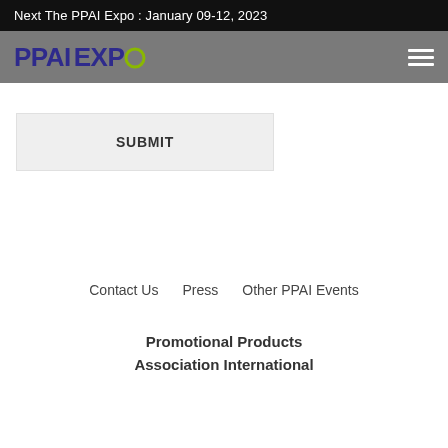Next The PPAI Expo : January 09-12, 2023
[Figure (logo): PPAI EXPO logo with circular green ring element on navigation bar]
SUBMIT
Contact Us   Press   Other PPAI Events
Promotional Products Association International